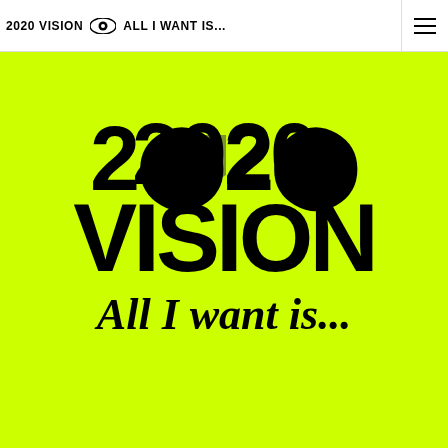2020 VISION 👁 ALL I WANT IS...
[Figure (illustration): Lime green background with large bold black text '2020 VISION' and blackletter text 'All I want is...' with a Middlesex University London logo watermark overlay]
2020 VISION All I want is...